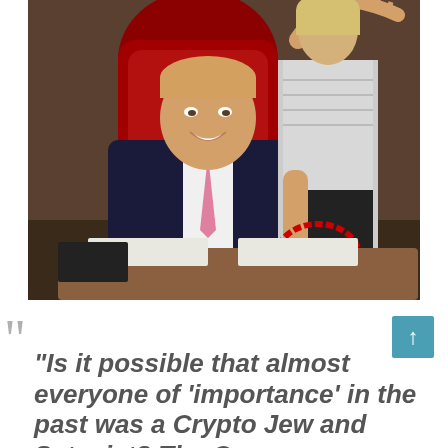[Figure (photo): A man in a dark suit and pink tie sits in a red leather chair at a desk with papers. A woman in a light top and dark skirt stands behind him. A red hand-drawn circle highlights the woman's hand on the desk.]
“Is it possible that almost everyone of ‘importance’ in the past was a Crypto Jew and Satanist? The Corona